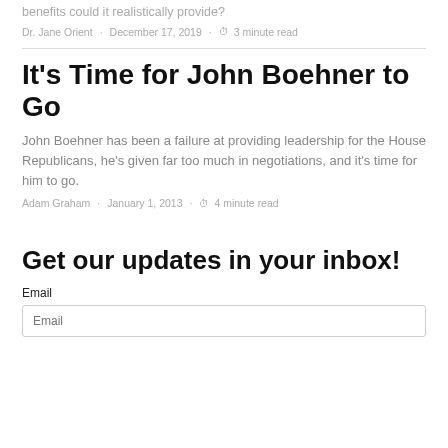benefits could it realistically provide?
Dr. Jane Orient · December 17, 2019 · 3 minute read
It's Time for John Boehner to Go
John Boehner has been a failure at providing leadership for the House Republicans, he's given far too much in negotiations, and it's time for him to go.
Adam Graham · January 1, 2013 · 4 minute read
Get our updates in your inbox!
Email